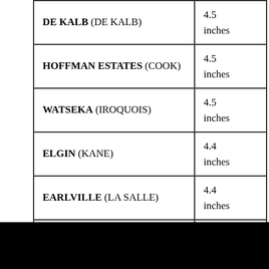| Location | Measurement |
| --- | --- |
| DE KALB (DE KALB) | 4.5 inches |
| HOFFMAN ESTATES (COOK) | 4.5 inches |
| WATSEKA (IROQUOIS) | 4.5 inches |
| ELGIN (KANE) | 4.4 inches |
| EARLVILLE (LA SALLE) | 4.4 inches |
| BATAVIA (KANE) | 4.3 |